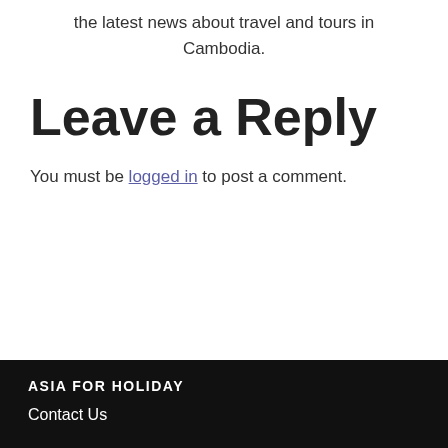the latest news about travel and tours in Cambodia.
Leave a Reply
You must be logged in to post a comment.
ASIA FOR HOLIDAY
Contact Us